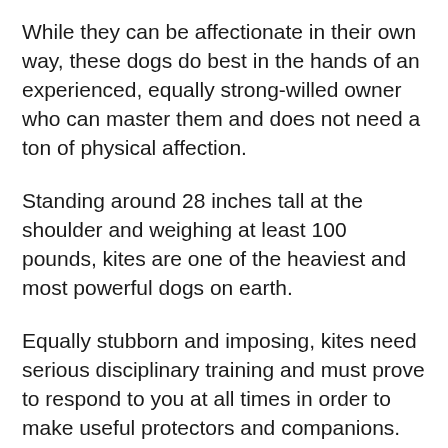While they can be affectionate in their own way, these dogs do best in the hands of an experienced, equally strong-willed owner who can master them and does not need a ton of physical affection.
Standing around 28 inches tall at the shoulder and weighing at least 100 pounds, kites are one of the heaviest and most powerful dogs on earth.
Equally stubborn and imposing, kites need serious disciplinary training and must prove to respond to you at all times in order to make useful protectors and companions. their distinctive, bear like head is an obvious tipoff to their extraordinary power.